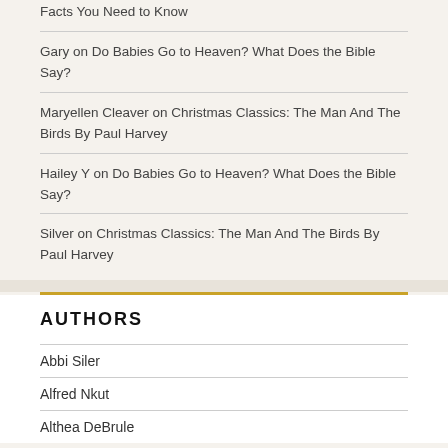Facts You Need to Know
Gary on Do Babies Go to Heaven? What Does the Bible Say?
Maryellen Cleaver on Christmas Classics: The Man And The Birds By Paul Harvey
Hailey Y on Do Babies Go to Heaven? What Does the Bible Say?
Silver on Christmas Classics: The Man And The Birds By Paul Harvey
AUTHORS
Abbi Siler
Alfred Nkut
Althea DeBrule